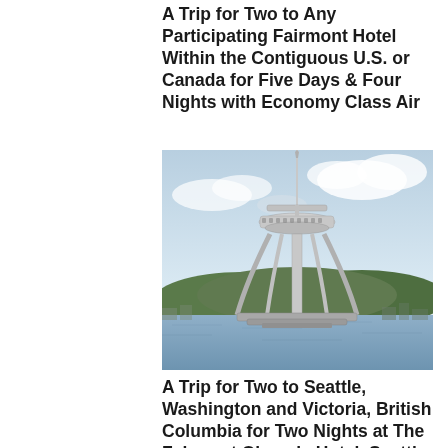A Trip for Two to Any Participating Fairmont Hotel Within the Contiguous U.S. or Canada for Five Days & Four Nights with Economy Class Air
[Figure (photo): Photo of the Seattle Space Needle tower with water and hills in the background under a partly cloudy sky.]
A Trip for Two to Seattle, Washington and Victoria, British Columbia for Two Nights at The Fairmont Olympic Hotel, Seattle and Two Nights at The Fairmont